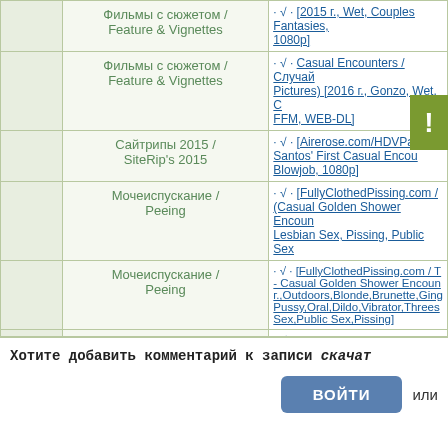|  | Category | Content |
| --- | --- | --- |
|  | Фильмы с сюжетом / Feature & Vignettes | · √ · [2015 г., Wet, Couples Fantasies, 1080p] |
|  | Фильмы с сюжетом / Feature & Vignettes | · √ · Casual Encounters / Случайные Pictures) [2016 г., Gonzo, Wet, C, FFM, WEB-DL] |
|  | Сайтрипы 2015 / SiteRip's 2015 | · √ · [Airerose.com/HDVPa, Santos' First Casual Encou, Blowjob, 1080p] |
|  | Мочеиспускание / Peeing | · √ · [FullyClothedPissing.com / (Casual Golden Shower Encounter, Lesbian Sex, Pissing, Public Sex] |
|  | Мочеиспускание / Peeing | · √ · [FullyClothedPissing.com / - Casual Golden Shower Encoun г.,Outdoors,Blonde,Brunette,Ging Pussy,Oral,Dildo,Vibrator,Threes Sex,Public Sex,Pissing] |
|  | Нетрадиционное порно / Special Interest Movies & Clips | · √ · Casual T-Girl Encounters / Zone) [2012, SheMale, Transsex |
bot
Топик был перенесен в форум Транссексуалы

Перенес Mahmud_1
Хотите добавить комментарий к записи скачат
ВОЙТИ или